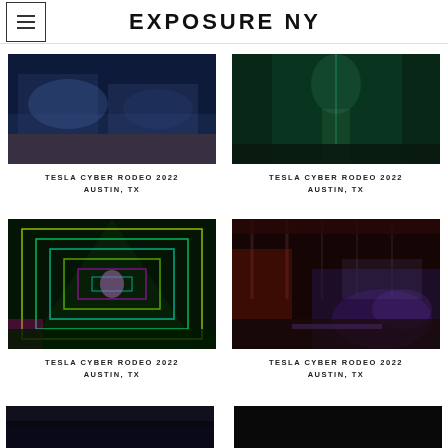EXPOSURE NY
[Figure (photo): Tesla Cyber Rodeo 2022 Austin TX - blue lit venue interior]
TESLA CYBER RODEO 2022
AUSTIN, TX
[Figure (photo): Tesla Cyber Rodeo 2022 Austin TX - teal/green lit venue interior]
TESLA CYBER RODEO 2022
AUSTIN, TX
[Figure (photo): Tesla Cyber Rodeo 2022 Austin TX - neon tunnel with colorful lights]
TESLA CYBER RODEO 2022
AUSTIN, TX
[Figure (photo): Tesla Cyber Rodeo 2022 Austin TX - industrial venue with red and blue lights]
TESLA CYBER RODEO 2022
AUSTIN, TX
[Figure (photo): Tesla Cyber Rodeo 2022 Austin TX - dark venue shot (partially visible)]
[Figure (photo): Tesla Cyber Rodeo 2022 Austin TX - dark venue shot (partially visible)]